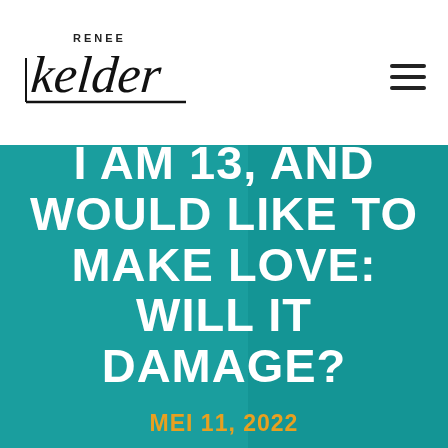RENEE kelder
I AM 13, AND WOULD LIKE TO MAKE LOVE: WILL IT DAMAGE?
MEI 11, 2022